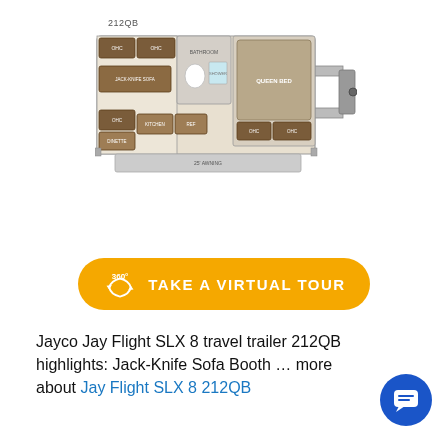212QB
[Figure (schematic): Floor plan schematic of Jayco Jay Flight SLX 8 212QB travel trailer showing top-down view with labeled rooms: Jack-Knife Sofa, dinette, bathroom, bedroom with queen bed, overhead cabinets, and slide-out awning.]
[Figure (other): Yellow rounded button with 360-degree icon and text: TAKE A VIRTUAL TOUR]
Jayco Jay Flight SLX 8 travel trailer 212QB highlights: Jack-Knife Sofa Booth … more about Jay Flight SLX 8 212QB